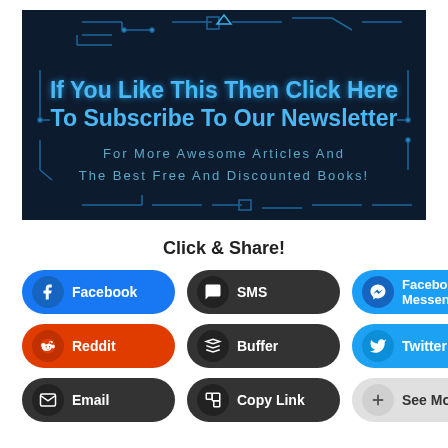[Figure (illustration): Dark tech/circuit board banner with blue circuit traces and text: 'If You Like This Then Click Here To Subscribe To Our Newsletter For More Awesome Articles And The Best Free And Discounted Books!']
Click & Share!
[Figure (infographic): Social share buttons: Facebook, SMS, Facebook Messenger, Reddit, Buffer, Twitter, Email, Copy Link, See More]